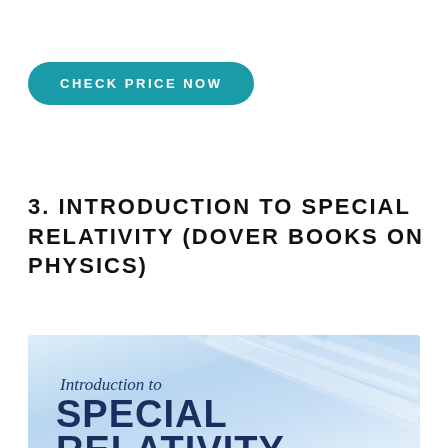CHECK PRICE NOW
3. INTRODUCTION TO SPECIAL RELATIVITY (DOVER BOOKS ON PHYSICS)
[Figure (photo): Book cover of 'Introduction to Special Relativity' showing the title in dark navy text over a light blue abstract background with light streaks suggesting motion or light.]